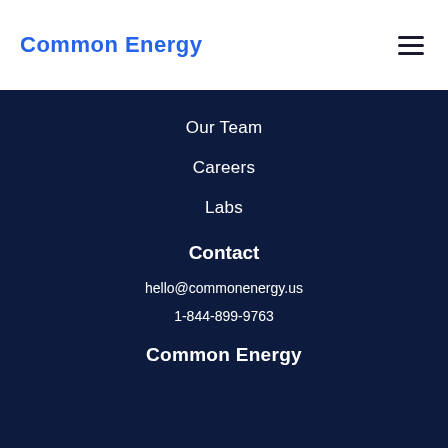Common Energy
Our Team
Careers
Labs
Contact
hello@commonenergy.us
1-844-899-9763
Common Energy